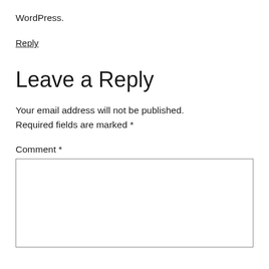WordPress.
Reply
Leave a Reply
Your email address will not be published. Required fields are marked *
Comment *
[Figure (other): Empty comment text area input box]